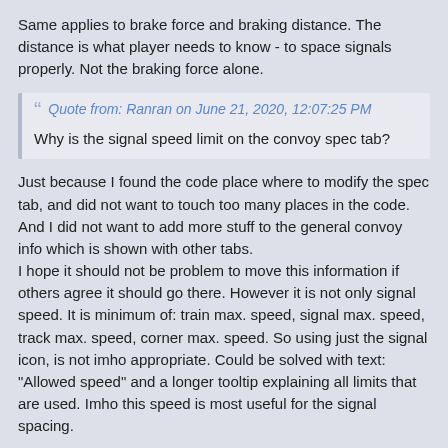Same applies to brake force and braking distance. The distance is what player needs to know - to space signals properly. Not the braking force alone.
Quote from: Ranran on June 21, 2020, 12:07:25 PM
Why is the signal speed limit on the convoy spec tab?
Just because I found the code place where to modify the spec tab, and did not want to touch too many places in the code. And I did not want to add more stuff to the general convoy info which is shown with other tabs.
I hope it should not be problem to move this information if others agree it should go there. However it is not only signal speed. It is minimum of: train max. speed, signal max. speed, track max. speed, corner max. speed. So using just the signal icon, is not imho appropriate. Could be solved with text: "Allowed speed" and a longer tooltip explaining all limits that are used. Imho this speed is most useful for the signal spacing.
Quote from: Ranran on June 21, 2020, 12:07:25 PM
2) The same applies to starting acceleration. Repeating the same label twice is silly.